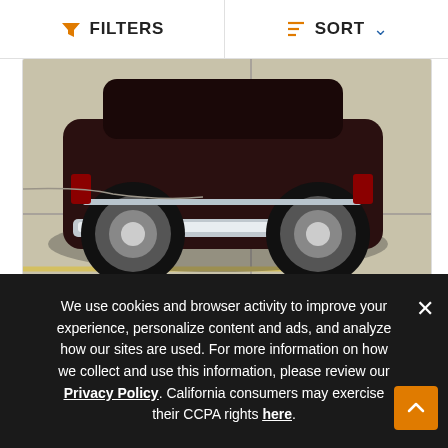FILTERS   SORT
[Figure (photo): Partial view of a 1962 Oldsmobile Starfire car from above, showing the rear wheel and chrome bumper against a concrete parking lot surface with yellow line markings.]
1962 Oldsmobile Starfire
Call for Price
|  |  |
| --- | --- |
| Color | Red |
| Engine | 8 cyl |
Advertisement
We use cookies and browser activity to improve your experience, personalize content and ads, and analyze how our sites are used. For more information on how we collect and use this information, please review our Privacy Policy. California consumers may exercise their CCPA rights here.